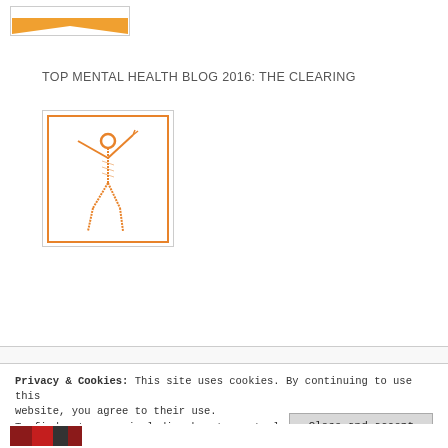[Figure (logo): Orange banner/logo image at top, partially visible]
TOP MENTAL HEALTH BLOG 2016: THE CLEARING
[Figure (illustration): Orange stick figure with arms raised in celebration, inside an orange rectangular border, on white background — logo for 'The Clearing' mental health blog]
Privacy & Cookies: This site uses cookies. By continuing to use this website, you agree to their use.
To find out more, including how to control cookies, see here: Cookie Policy
Close and accept
[Figure (photo): Partial view of a book cover at the bottom of the page]